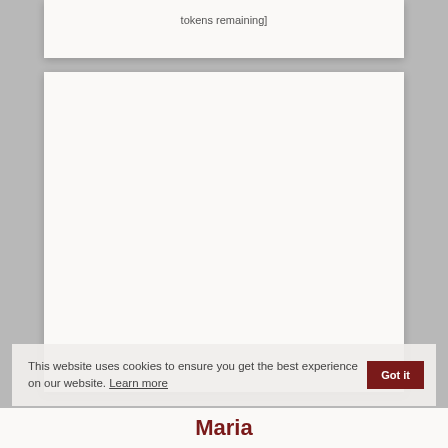tokens remaining]
[Figure (other): Blank white content area card]
This website uses cookies to ensure you get the best experience on our website. Learn more
Maria